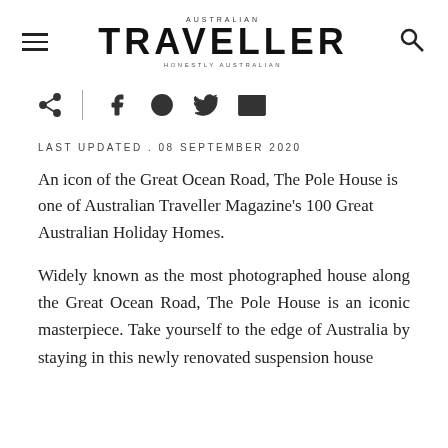AUSTRALIAN TRAVELLER — HONESTLY AUSTRALIAN
[Figure (logo): Australian Traveller magazine logo with hamburger menu icon on left and search icon on right]
[Figure (infographic): Social sharing icons bar: share, Facebook, Pinterest, Twitter, email]
LAST UPDATED . 08 SEPTEMBER 2020
An icon of the Great Ocean Road, The Pole House is one of Australian Traveller Magazine's 100 Great Australian Holiday Homes.
Widely known as the most photographed house along the Great Ocean Road, The Pole House is an iconic masterpiece. Take yourself to the edge of Australia by staying in this newly renovated suspension house